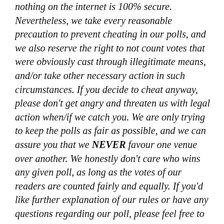nothing on the internet is 100% secure. Nevertheless, we take every reasonable precaution to prevent cheating in our polls, and we also reserve the right to not count votes that were obviously cast through illegitimate means, and/or take other necessary action in such circumstances. If you decide to cheat anyway, please don't get angry and threaten us with legal action when/if we catch you. We are only trying to keep the polls as fair as possible, and we can assure you that we NEVER favour one venue over another. We honestly don't care who wins any given poll, as long as the votes of our readers are counted fairly and equally. If you'd like further explanation of our rules or have any questions regarding our poll, please feel free to email us at